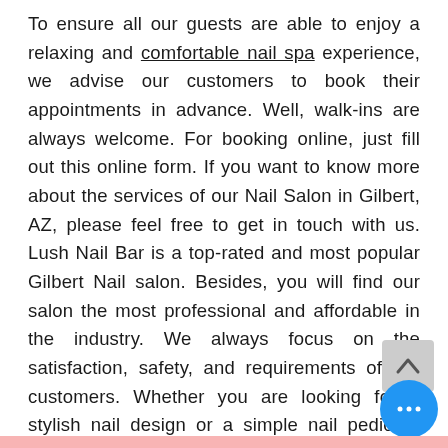To ensure all our guests are able to enjoy a relaxing and comfortable nail spa experience, we advise our customers to book their appointments in advance. Well, walk-ins are always welcome. For booking online, just fill out this online form. If you want to know more about the services of our Nail Salon in Gilbert, AZ, please feel free to get in touch with us. Lush Nail Bar is a top-rated and most popular Gilbert Nail salon. Besides, you will find our salon the most professional and affordable in the industry. We always focus on the satisfaction, safety, and requirements of our customers. Whether you are looking for a stylish nail design or a simple nail pedicure and manicure, you can always visit Lush Nail Bar. No matter which service you book, you will feel satisfied in the end. Visit our nail salon now.